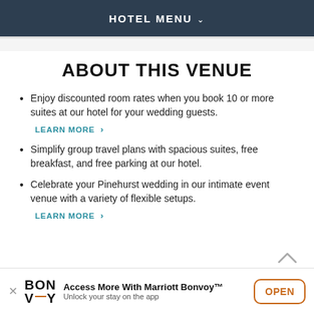HOTEL MENU
ABOUT THIS VENUE
Enjoy discounted room rates when you book 10 or more suites at our hotel for your wedding guests.
LEARN MORE >
Simplify group travel plans with spacious suites, free breakfast, and free parking at our hotel.
Celebrate your Pinehurst wedding in our intimate event venue with a variety of flexible setups.
LEARN MORE >
Access More With Marriott Bonvoy™ Unlock your stay on the app